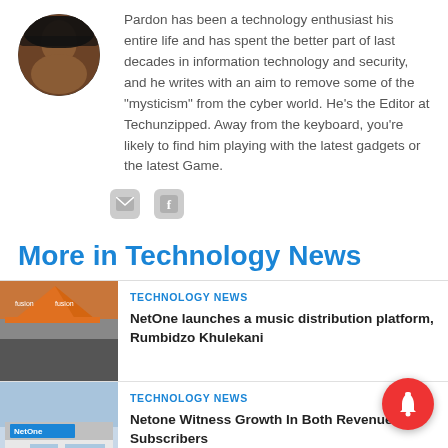[Figure (photo): Circular avatar photo of a person wearing a cap]
Pardon has been a technology enthusiast his entire life and has spent the better part of last decades in information technology and security, and he writes with an aim to remove some of the "mysticism" from the cyber world. He's the Editor at Techunzipped. Away from the keyboard, you're likely to find him playing with the latest gadgets or the latest Game.
[Figure (illustration): Social media icons: email and Facebook]
More in Technology News
[Figure (photo): Photo of an outdoor event with orange tent and people]
TECHNOLOGY NEWS
NetOne launches a music distribution platform, Rumbidzo Khulekani
[Figure (photo): Photo of a NetOne store front]
TECHNOLOGY NEWS
Netone Witness Growth In Both Revenue And Subscribers